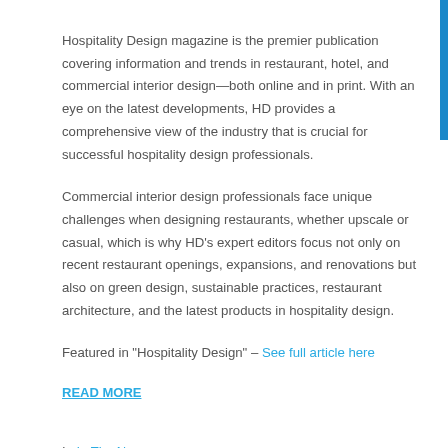Hospitality Design magazine is the premier publication covering information and trends in restaurant, hotel, and commercial interior design—both online and in print. With an eye on the latest developments, HD provides a comprehensive view of the industry that is crucial for successful hospitality design professionals.
Commercial interior design professionals face unique challenges when designing restaurants, whether upscale or casual, which is why HD's expert editors focus not only on recent restaurant openings, expansions, and renovations but also on green design, sustainable practices, restaurant architecture, and the latest products in hospitality design.
Featured in “Hospitality Design” – See full article here
READ MORE
In In The News